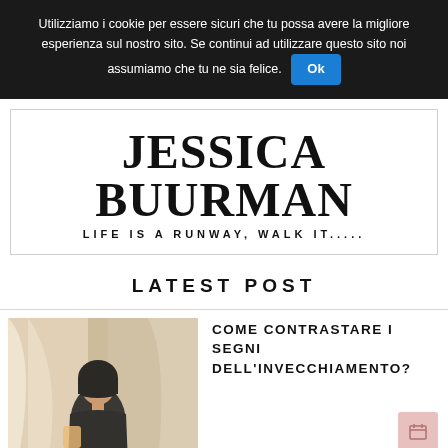Utilizziamo i cookie per essere sicuri che tu possa avere la migliore esperienza sul nostro sito. Se continui ad utilizzare questo sito noi assumiamo che tu ne sia felice. Ok
[Figure (logo): Jessica Buurman blog logo with tagline 'LIFE IS A RUNWAY, WALK IT.....']
LATEST POST
[Figure (photo): Fashion photo of a woman with dark bob haircut in a satin/silk outfit]
COME CONTRASTARE I SEGNI DELL'INVECCHIAMENTO?